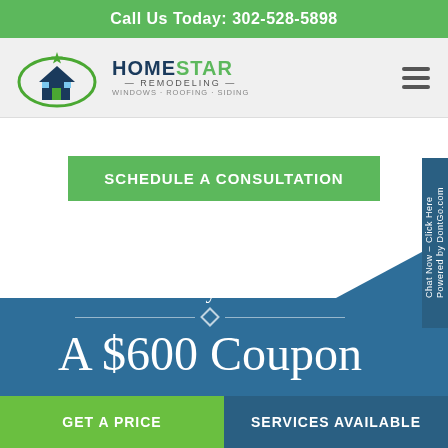Call Us Today: 302-528-5898
[Figure (logo): HomeStar Remodeling logo with house icon and green star, text reads HOMESTAR REMODELING - WINDOWS · ROOFING · SIDING]
SCHEDULE A CONSULTATION
No Money Down &
A $600 Coupon
GET A PRICE
SERVICES AVAILABLE
Chat Now – Click Here
Powered by DontGo.com